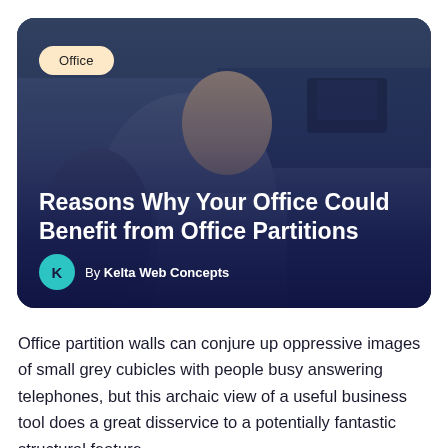[Figure (photo): Hero image card with a man smiling in an office background, overlaid with a dark purple gradient. Contains a category tag 'Office', a title, and author attribution.]
Reasons Why Your Office Could Benefit from Office Partitions
By Kelta Web Concepts
Office partition walls can conjure up oppressive images of small grey cubicles with people busy answering telephones, but this archaic view of a useful business tool does a great disservice to a potentially fantastic structural feature.